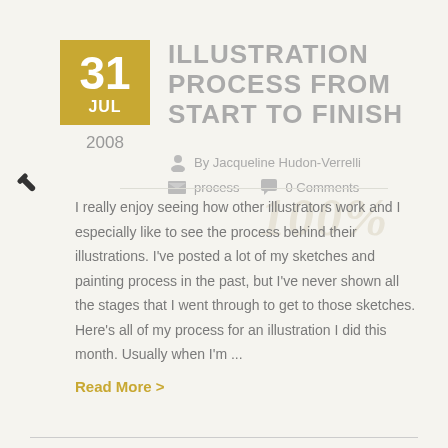31 JUL 2008 — ILLUSTRATION PROCESS FROM START TO FINISH
By Jacqueline Hudon-Verrelli
process   0 Comments
I really enjoy seeing how other illustrators work and I especially like to see the process behind their illustrations. I've posted a lot of my sketches and painting process in the past, but I've never shown all the stages that I went through to get to those sketches. Here's all of my process for an illustration I did this month. Usually when I'm ...
Read More >